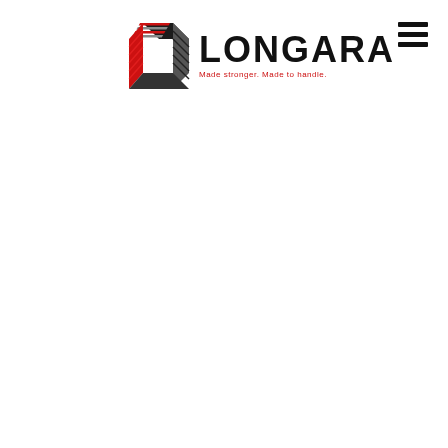[Figure (logo): Longara company logo with geometric hexagonal icon in red and grey/black stripes, company name LONGARA in bold black, and tagline 'Made stronger. Made to handle.' in red below]
[Figure (other): Hamburger menu icon (three horizontal black bars) in the top-right corner]